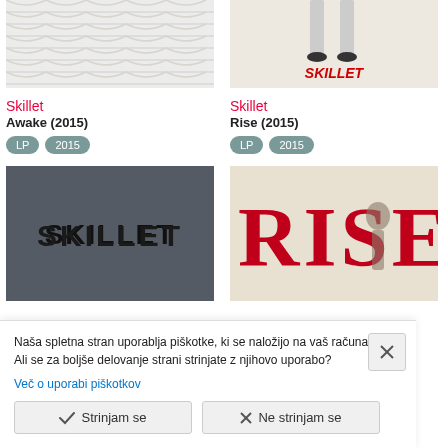[Figure (photo): Skillet Awake album cover top portion - white knit/textile texture]
Skillet
Awake (2015)
LP  2015
[Figure (photo): Skillet Rise album cover top portion - girl figure with SKILLET text in red]
Skillet
Rise (2015)
LP  2015
[Figure (photo): Skillet dark album cover with SKILLET logo in black]
[Figure (photo): RISE album cover with large red letters and girl figure]
Naša spletna stran uporablja piškotke, ki se naložijo na vaš računalnik. Ali se za boljše delovanje strani strinjate z njihovo uporabo?
Več o uporabi piškotkov
Strinjam se
Ne strinjam se